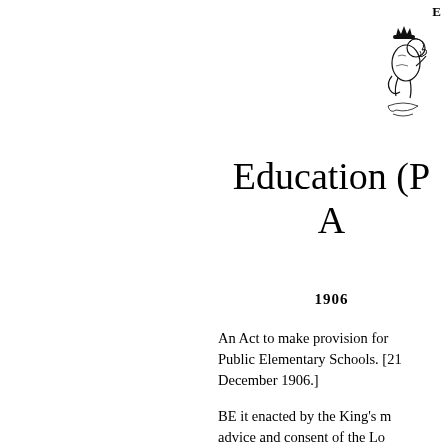E
[Figure (illustration): Royal coat of arms illustration showing a lion rampant with decorative scrollwork]
Education (P
A
1906
An Act to make provision for Public Elementary Schools. [21 December 1906.]
BE it enacted by the King's most Excellent Majesty, by and with the advice and consent of the Lords Spiritual and Temporal, and Commons, in this present Parliament assembled, and by the authority of the same, as foll